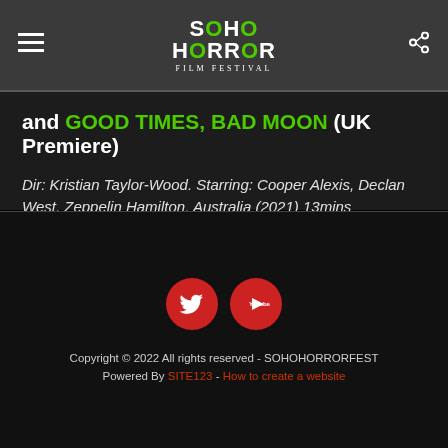SOHO HORROR FILM FESTIVAL
and GOOD TIMES, BAD MOON (UK Premiere)
Dir: Kristian Taylor-Wood. Starring: Cooper Alexis, Declan West, Zeppelin Hamilton. Australia (2021) 13mins
An outcast teenager attends his first roller disco and is quickly targeted by the local bullies.
Copyright © 2022 All rights reserved - SOHOHORRORFEST
Powered By SITE123 - How to create a website